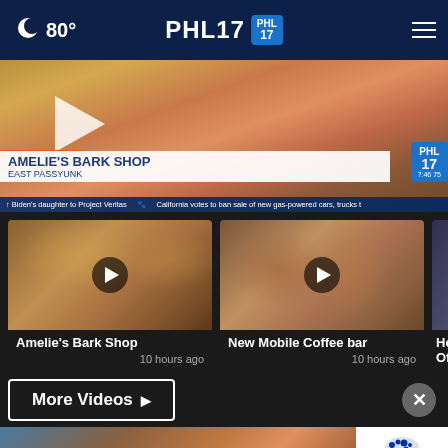80° PHL17 [navigation menu]
[Figure (screenshot): PHL17 news video player showing Amelie's Bark Shop East Passyunk segment with National Dog Day chyron, play button, and news ticker reading Biden's daughter to Project Veritas / California votes to ban sale of new gas-powered cars, trucks]
[Figure (screenshot): Video thumbnail for Amelie's Bark Shop segment with play button]
Amelie's Bark Shop
10 hours ago
[Figure (screenshot): Video thumbnail for New Mobile Coffee bar segment with play button]
New Mobile Coffee bar
10 hours ago
[Figure (screenshot): Partial video thumbnail for House Offers segment]
House Offers
More Videos ▶
[Figure (photo): Subaru advertisement showing red SUV in rocky landscape with Explore button]